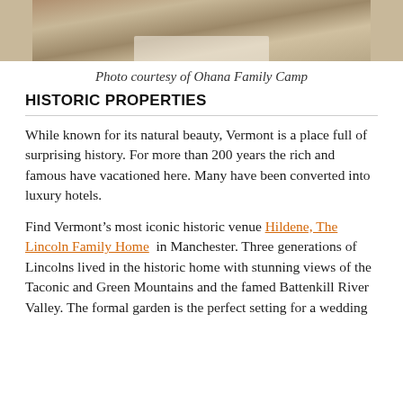[Figure (photo): Bottom portion of a photo from Ohana Family Camp, showing what appears to be fabric or clothing on the ground.]
Photo courtesy of Ohana Family Camp
HISTORIC PROPERTIES
While known for its natural beauty, Vermont is a place full of surprising history. For more than 200 years the rich and famous have vacationed here. Many have been converted into luxury hotels.
Find Vermont’s most iconic historic venue Hildene, The Lincoln Family Home in Manchester. Three generations of Lincolns lived in the historic home with stunning views of the Taconic and Green Mountains and the famed Battenkill River Valley. The formal garden is the perfect setting for a wedding